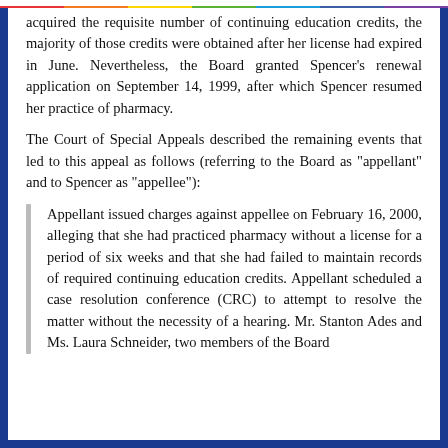acquired the requisite number of continuing education credits, the majority of those credits were obtained after her license had expired in June. Nevertheless, the Board granted Spencer's renewal application on September 14, 1999, after which Spencer resumed her practice of pharmacy.
The Court of Special Appeals described the remaining events that led to this appeal as follows (referring to the Board as "appellant" and to Spencer as "appellee"):
Appellant issued charges against appellee on February 16, 2000, alleging that she had practiced pharmacy without a license for a period of six weeks and that she had failed to maintain records of required continuing education credits. Appellant scheduled a case resolution conference (CRC) to attempt to resolve the matter without the necessity of a hearing. Mr. Stanton Ades and Ms. Laura Schneider, two members of the Board